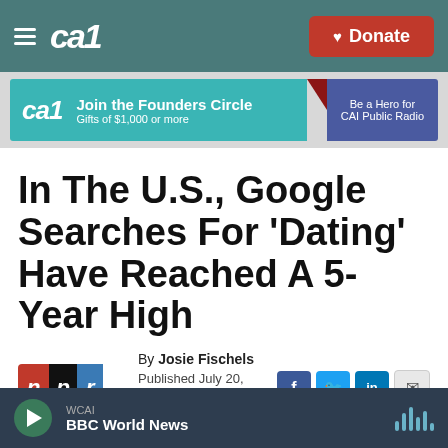CAI | Donate
[Figure (screenshot): CAI Public Radio banner ad: Join the Founders Circle, Gifts of $1,000 or more, Be a Hero for CAI Public Radio]
In The U.S., Google Searches For 'Dating' Have Reached A 5-Year High
By Josie Fischels
Published July 20, 2021 at 5:01 AM EDT
WCAI
BBC World News